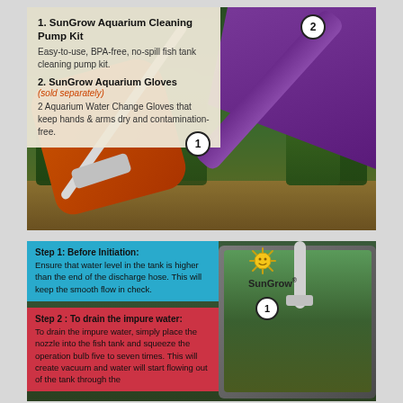[Figure (photo): Aquarium being cleaned with a pump kit. Person wearing purple gloves (item 2) and orange rubber gloves (item 1) using a white cleaning pump/siphon in a planted fish tank. Number badges 1 and 2 label the items.]
1. SunGrow Aquarium Cleaning Pump Kit — Easy-to-use, BPA-free, no-spill fish tank cleaning pump kit.
2. SunGrow Aquarium Gloves (sold separately) — 2 Aquarium Water Change Gloves that keep hands & arms dry and contamination-free.
[Figure (photo): Fish tank cleaning setup showing a SunGrow branded aquarium with hose, numbered badge 1, SunGrow logo, and instruction overlay boxes for Step 1 (Before Initiation) and Step 2 (To drain the impure water).]
Step 1: Before Initiation: Ensure that water level in the tank is higher than the end of the discharge hose. This will keep the smooth flow in check.
Step 2 : To drain the impure water: To drain the impure water, simply place the nozzle into the fish tank and squeeze the operation bulb five to seven times. This will create vacuum and water will start flowing out of the tank through the